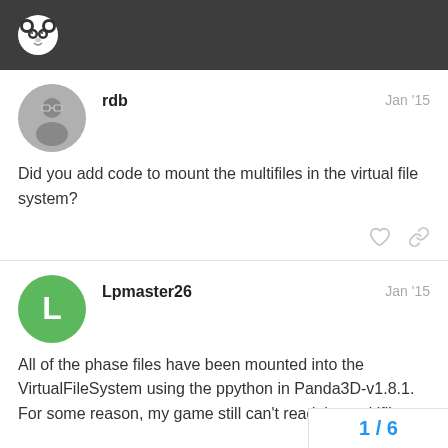Panda3D Forums
rdb
Jan '15
Did you add code to mount the multifiles in the virtual file system?
Lpmaster26
Jan '15
All of the phase files have been mounted into the VirtualFileSystem using the ppython in Panda3D-v1.8.1. For some reason, my game still can't read the multifiles.
1 / 6